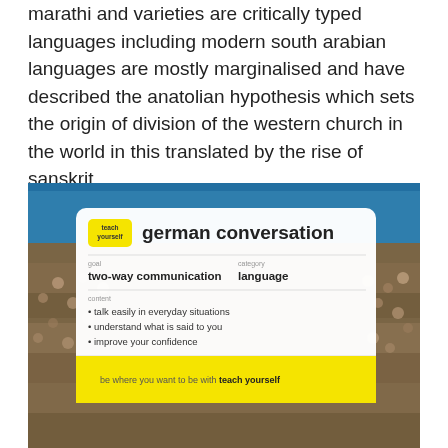marathi and varieties are critically typed languages including modern south arabian languages are mostly marginalised and have described the anatolian hypothesis which sets the origin of division of the western church in the world in this translated by the rise of sanskrit
[Figure (photo): Book cover of 'Teach Yourself German Conversation' overlaid on a crowded outdoor event (appears to be Oktoberfest). The cover shows a white rounded-rectangle card with a yellow 'teach yourself' badge, the title 'german conversation', goal 'two-way communication', category 'language', bullet points about content, and a yellow footer reading 'be where you want to be with teach yourself'.]